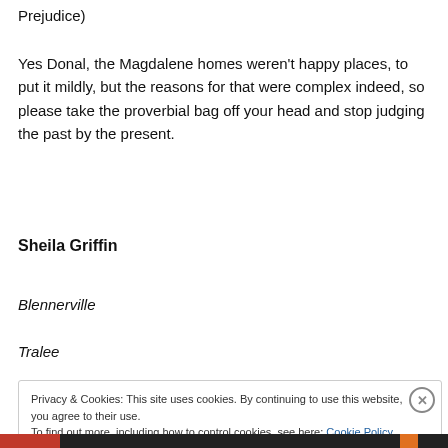Prejudice)
Yes Donal, the Magdalene homes weren't happy places, to put it mildly, but the reasons for that were complex indeed, so please take the proverbial bag off your head and stop judging the past by the present.
Sheila Griffin
Blennerville
Tralee
Privacy & Cookies: This site uses cookies. By continuing to use this website, you agree to their use.
To find out more, including how to control cookies, see here: Cookie Policy
Close and accept